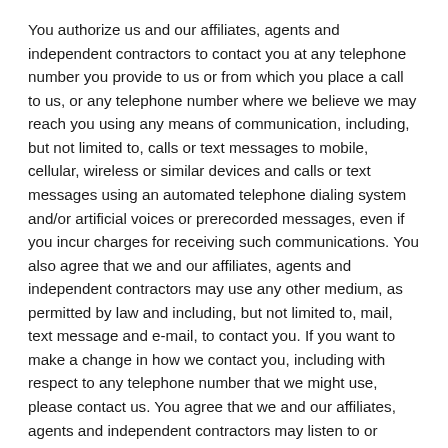You authorize us and our affiliates, agents and independent contractors to contact you at any telephone number you provide to us or from which you place a call to us, or any telephone number where we believe we may reach you using any means of communication, including, but not limited to, calls or text messages to mobile, cellular, wireless or similar devices and calls or text messages using an automated telephone dialing system and/or artificial voices or prerecorded messages, even if you incur charges for receiving such communications. You also agree that we and our affiliates, agents and independent contractors may use any other medium, as permitted by law and including, but not limited to, mail, text message and e-mail, to contact you. If you want to make a change in how we contact you, including with respect to any telephone number that we might use, please contact us. You agree that we and our affiliates, agents and independent contractors may listen to or record telephone calls between you and our representatives without additional notice to you.
6. USE OF THE SITE